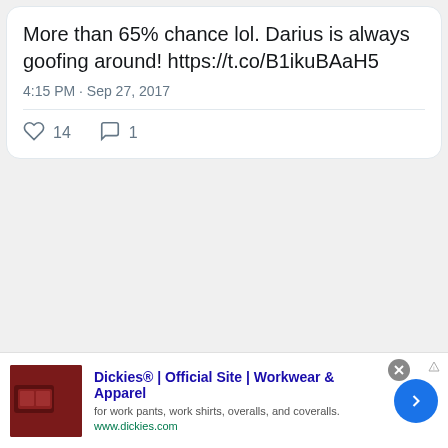More than 65% chance lol. Darius is always goofing around! https://t.co/B1ikuBAaH5
4:15 PM · Sep 27, 2017
14 likes, 1 comment
[Figure (screenshot): Advertisement banner for Dickies workwear showing product image, title, description, and navigation button]